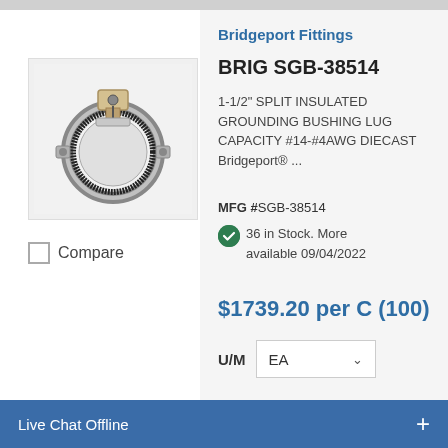[Figure (photo): Product photo of Bridgeport SGB-38514 1-1/2 inch split insulated grounding bushing lug, showing a metal ring clamp with a lug attachment]
Compare
Bridgeport Fittings
BRIG SGB-38514
1-1/2" SPLIT INSULATED GROUNDING BUSHING LUG CAPACITY #14-#4AWG DIECAST Bridgeport® ...
MFG #SGB-38514
36 in Stock. More available 09/04/2022
$1739.20 per C (100)
U/M   EA
Live Chat Offline